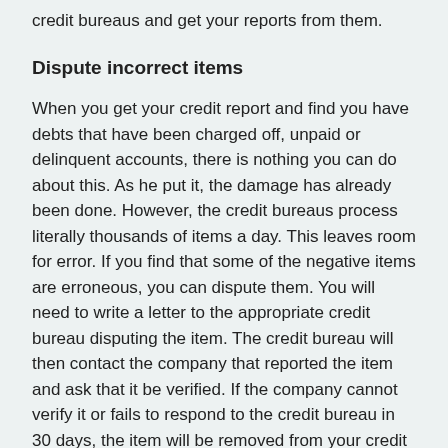credit bureaus and get your reports from them.
Dispute incorrect items
When you get your credit report and find you have debts that have been charged off, unpaid or delinquent accounts, there is nothing you can do about this. As he put it, the damage has already been done. However, the credit bureaus process literally thousands of items a day. This leaves room for error. If you find that some of the negative items are erroneous, you can dispute them. You will need to write a letter to the appropriate credit bureau disputing the item. The credit bureau will then contact the company that reported the item and ask that it be verified. If the company cannot verify it or fails to respond to the credit bureau in 30 days, the item will be removed from your credit report, which could help somewhat.
Pay off past due accounts that haven't been charged off
He advised you to pay off any accounts that are past due but that haven't been charged off yet. This will make the accounts up-to-date